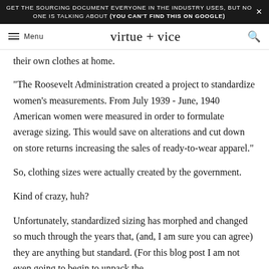GET THE SOURCING DOCUMENT EVERYONE IN THE INDUSTRY USES, BUT NO ONE IS TALKING ABOUT (YOU CAN'T FIND THIS ON GOOGLE)
virtue + vice — Menu
their own clothes at home.
"The Roosevelt Administration created a project to standardize women's measurements. From July 1939 - June, 1940 American women were measured in order to formulate average sizing. This would save on alterations and cut down on store returns increasing the sales of ready-to-wear apparel."
So, clothing sizes were actually created by the government.
Kind of crazy, huh?
Unfortunately, standardized sizing has morphed and changed so much through the years that, (and, I am sure you can agree) they are anything but standard. (For this blog post I am not even going to begin to unpack the